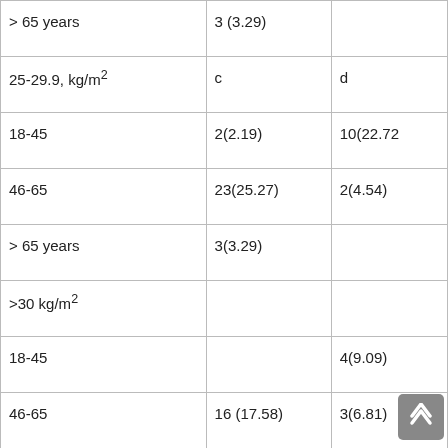|  | Col2 | Col3 |
| --- | --- | --- |
| > 65 years | 3 (3.29) |  |
| 25-29.9, kg/m² | c | d |
| 18-45 | 2(2.19) | 10(22.72 |
| 46-65 | 23(25.27) | 2(4.54) |
| > 65 years | 3(3.29) |  |
| >30 kg/m² |  |  |
| 18-45 |  | 4(9.09) |
| 46-65 | 16 (17.58) | 3(6.81) |
| > 65 years | 3(3.29) |  |